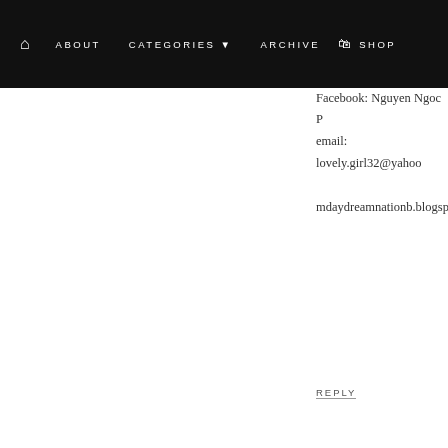HOME  ABOUT  CATEGORIES  ARCHIVE  SHOP
PS. I really really like the
other ban
Facebook: Nguyen Ngoc P
email: lovely.girl32@yaho
mdaydreamnationb.blogsp
REPLY
LIVIA PANGDOKO
FEBRUARY 20, 2013 AT 1:23 PM
so beautiful. this watch bee
for this giveaway ;p

facebook: Livia Pangdoko
email: livia.pang@hotmail.
favorite watch: http://www.
lady

xx from Indonesia,